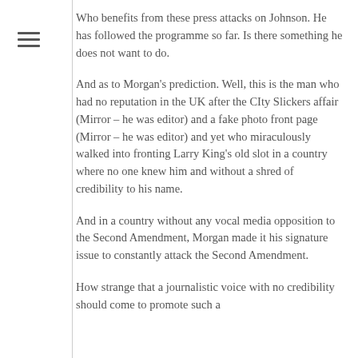Who benefits from these press attacks on Johnson. He has followed the programme so far. Is there something he does not want to do.
And as to Morgan's prediction. Well, this is the man who had no reputation in the UK after the CIty Slickers affair (Mirror – he was editor) and a fake photo front page (Mirror – he was editor) and yet who miraculously walked into fronting Larry King's old slot in a country where no one knew him and without a shred of credibility to his name.
And in a country without any vocal media opposition to the Second Amendment, Morgan made it his signature issue to constantly attack the Second Amendment.
How strange that a journalistic voice with no credibility should come to promote such a